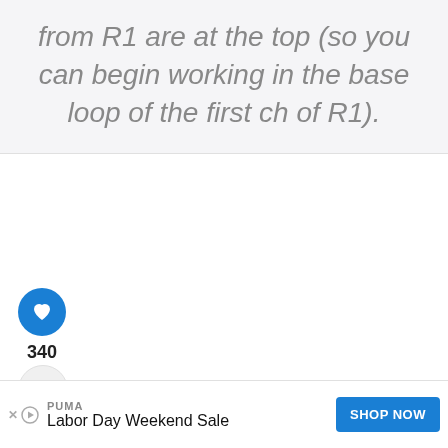from R1 are at the top (so you can begin working in the base loop of the first ch of R1).
[Figure (infographic): Heart/like button (blue circle with white heart icon), count 340, and share button (light circle with share icon)]
340
[Figure (infographic): WHAT'S NEXT arrow label with thumbnail image linking to Half Double Crochet article]
WHAT'S NEXT → Half Double Crochet...
[Figure (infographic): Advertisement banner: PUMA Labor Day Weekend Sale with SHOP NOW button]